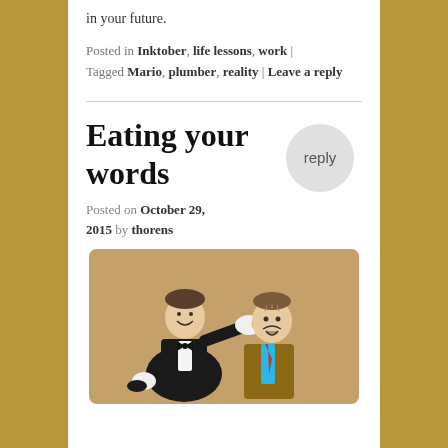in your future.
Posted in Inktober, life lessons, work | Tagged Mario, plumber, reality | Leave a reply
Eating your words
Posted on October 29, 2015 by thorens
[Figure (illustration): A man in a tuxedo with white gloves seeming to force-feed or push something into the face of another man in a suit with a red tie. The background is brown/tan. The illustration appears to be a cartoon or comic-style drawing depicting the idiom 'eating your words'.]